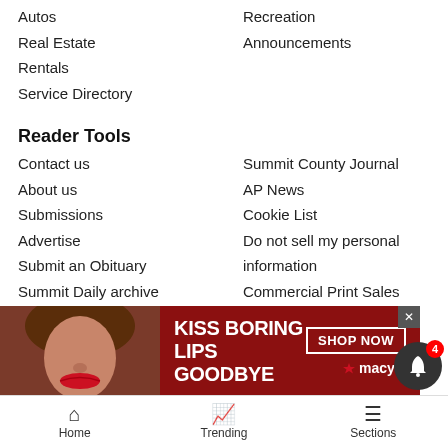Autos
Recreation
Real Estate
Announcements
Rentals
Service Directory
Reader Tools
Contact us
Summit County Journal
About us
AP News
Submissions
Cookie List
Advertise
Do not sell my personal information
Submit an Obituary
Commercial Print Sales
Summit Daily archive
RSS
Magazines
Work for us
Newsletters
Summit Daily E-Edition
News Neighbors
Aspen – Snowmass
Vail – Eagle County
Craig – M…
Glenwo…
[Figure (screenshot): Macy's advertisement banner: woman with red lips, text 'KISS BORING LIPS GOODBYE', 'SHOP NOW' button, Macy's logo with star]
Home  Trending  Sections